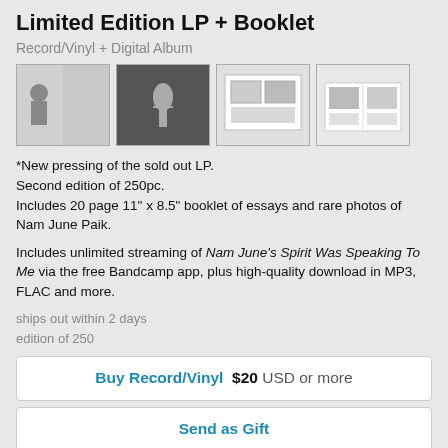Limited Edition LP + Booklet
Record/Vinyl + Digital Album
[Figure (photo): Four product images: vinyl record with person, small figurine on dark background, framed artwork display, open booklet with photos]
*New pressing of the sold out LP. Second edition of 250pc. Includes 20 page 11" x 8.5" booklet of essays and rare photos of Nam June Paik.
Includes unlimited streaming of Nam June's Spirit Was Speaking To Me via the free Bandcamp app, plus high-quality download in MP3, FLAC and more.
ships out within 2 days
edition of 250
Buy Record/Vinyl $20 USD or more
Send as Gift
Full Digital Discography
[Figure (photo): Row of album thumbnail images at bottom of page]